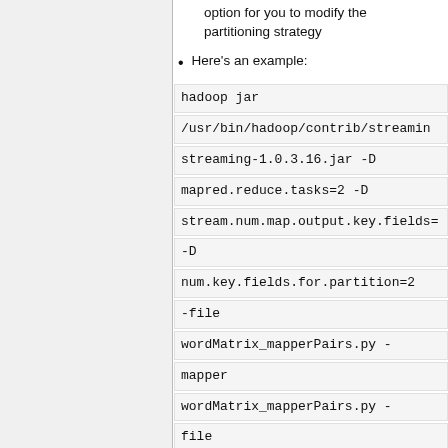option for you to modify the partitioning strategy
Here's an example:
hadoop jar
/usr/bin/hadoop/contrib/streaming/streaming-1.0.3.16.jar -D mapred.reduce.tasks=2 -D stream.num.map.output.key.fields= -D
num.key.fields.for.partition=2 -file
wordMatrix_mapperPairs.py -mapper
wordMatrix_mapperPairs.py -file
wordMatrix_reducerPairs.py -reducer
wordMatrix_reducerPairs.py -partitioner
org.apache.hadoop.mapred.lib.Key